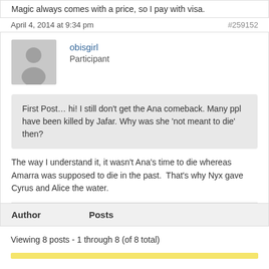Magic always comes with a price, so I pay with visa.
April 4, 2014 at 9:34 pm
#259152
obisgirl
Participant
First Post… hi! I still don't get the Ana comeback. Many ppl have been killed by Jafar. Why was she 'not meant to die' then?
The way I understand it, it wasn't Ana's time to die whereas Amarra was supposed to die in the past.  That's why Nyx gave Cyrus and Alice the water.
Author
Posts
Viewing 8 posts - 1 through 8 (of 8 total)